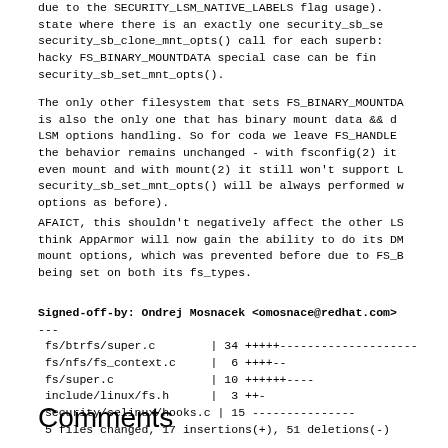due to the SECURITY_LSM_NATIVE_LABELS flag usage). state where there is an exactly one security_sb_se security_sb_clone_mnt_opts() call for each superb hacky FS_BINARY_MOUNTDATA special case can be fina security_sb_set_mnt_opts().
The only other filesystem that sets FS_BINARY_MOUNTDA is also the only one that has binary mount data && d LSM options handling. So for coda we leave FS_HANDLE the behavior remains unchanged - with fsconfig(2) i even mount and with mount(2) it still won't support security_sb_set_mnt_opts() will be always performed options as before).
AFAICT, this shouldn't negatively affect the other L think AppArmor will now gain the ability to do its D mount options, which was prevented before due to FS_ being set on both its fs_types.
Signed-off-by: Ondrej Mosnacek <omosnace@redhat.com>
---
 fs/btrfs/super.c        | 34 +++++-----------------
 fs/nfs/fs_context.c     |  6 ++++--
 fs/super.c              | 10 ++++++----
 include/linux/fs.h      |  3 ++-
 security/selinux/hooks.c | 15 ---------------
 5 files changed, 17 insertions(+), 51 deletions(-)
Comments